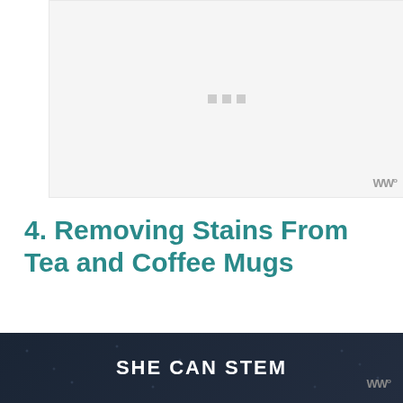[Figure (photo): Image placeholder showing loading dots and a watermark logo in bottom right corner]
4. Removing Stains From Tea and Coffee Mugs
E... those h... r tea
SHE CAN STEM